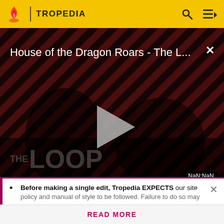TROPEDIA
[Figure (screenshot): Video player showing 'House of the Dragon Roars - The L...' with a play button, diagonal stripe background, two people in dark overlay, 'THE LOOP' watermark, and NaN:NaN timestamp. Close (X) button top right.]
prominent version, at least in this story.
Jorus C'baoth wants to get Outbound Flight
Before making a single edit, Tropedia EXPECTS our site policy and manual of style to be followed. Failure to do so may
READ MORE